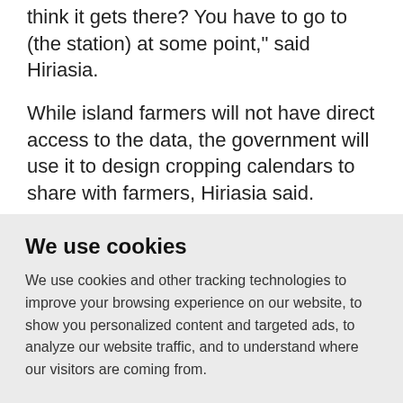think it gets there? You have to go to (the station) at some point," said Hiriasia.
While island farmers will not have direct access to the data, the government will use it to design cropping calendars to share with farmers, Hiriasia said.
“These technologies are not solutions in
We use cookies
We use cookies and other tracking technologies to improve your browsing experience on our website, to show you personalized content and targeted ads, to analyze our website traffic, and to understand where our visitors are coming from.